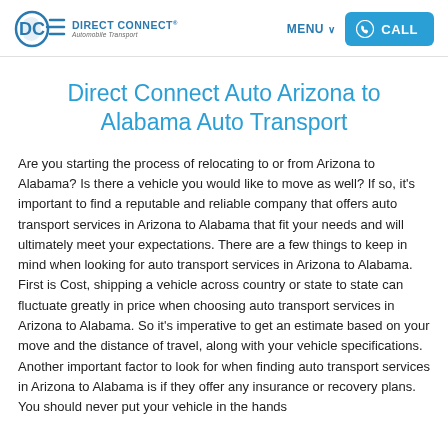Direct Connect Automobile Transport — MENU CALL
Direct Connect Auto Arizona to Alabama Auto Transport
Are you starting the process of relocating to or from Arizona to Alabama? Is there a vehicle you would like to move as well? If so, it's important to find a reputable and reliable company that offers auto transport services in Arizona to Alabama that fit your needs and will ultimately meet your expectations. There are a few things to keep in mind when looking for auto transport services in Arizona to Alabama. First is Cost, shipping a vehicle across country or state to state can fluctuate greatly in price when choosing auto transport services in Arizona to Alabama. So it's imperative to get an estimate based on your move and the distance of travel, along with your vehicle specifications. Another important factor to look for when finding auto transport services in Arizona to Alabama is if they offer any insurance or recovery plans. You should never put your vehicle in the hands